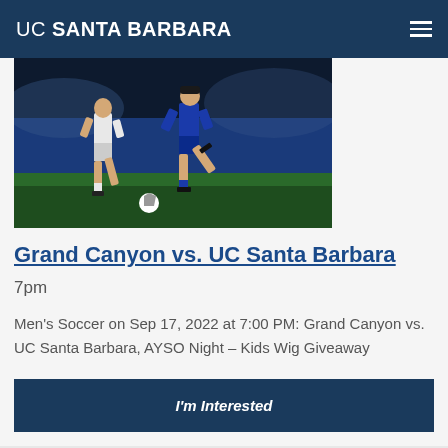UC SANTA BARBARA
[Figure (photo): Two soccer players running on a grass field at night, one in white uniform and one in blue uniform, with a soccer ball visible]
Grand Canyon vs. UC Santa Barbara
7pm
Men's Soccer on Sep 17, 2022 at 7:00 PM: Grand Canyon vs. UC Santa Barbara, AYSO Night – Kids Wig Giveaway
I'm Interested